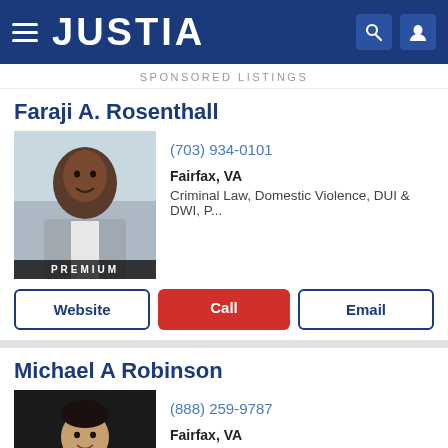JUSTIA
SPONSORED LISTINGS
Faraji A. Rosenthall
[Figure (photo): Professional headshot of Faraji A. Rosenthall, a man in a grey suit, with PREMIUM badge]
(703) 934-0101
Fairfax, VA
Criminal Law, Domestic Violence, DUI & DWI, P...
Website | Call | Email
Michael A Robinson
[Figure (photo): Professional headshot of Michael A Robinson, a man in a dark suit, with PREMIUM badge]
(888) 259-9787
Fairfax, VA
Criminal Law, DUI & DWI, Juvenile Law, Traffic ...